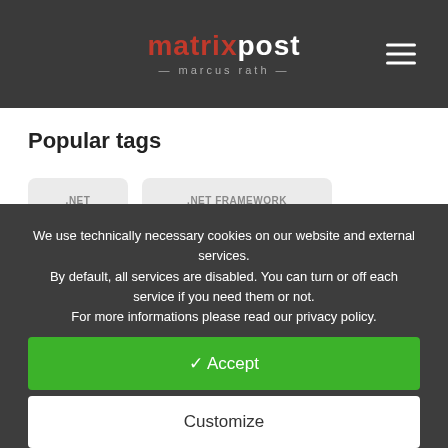matrixpost marcus rath
Popular tags
.NET
.NET FRAMEWORK
ACTIVE DIRECTORY FEDERATION SERVICES
We use technically necessary cookies on our website and external services. By default, all services are disabled. You can turn or off each service if you need them or not. For more informations please read our privacy policy.
✓ Accept
Customize